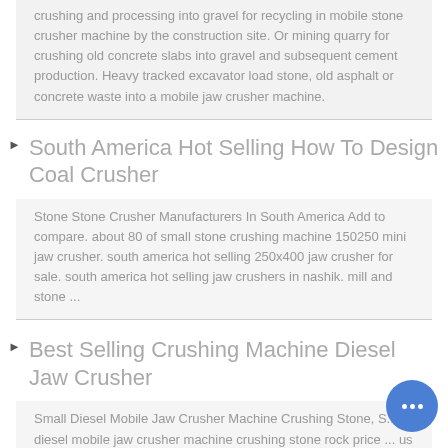crushing and processing into gravel for recycling in mobile stone crusher machine by the construction site. Or mining quarry for crushing old concrete slabs into gravel and subsequent cement production. Heavy tracked excavator load stone, old asphalt or concrete waste into a mobile jaw crusher machine.
South America Hot Selling How To Design Coal Crusher
Stone Stone Crusher Manufacturers In South America Add to compare. about 80 of small stone crushing machine 150250 mini jaw crusher. south america hot selling 250x400 jaw crusher for sale. south america hot selling jaw crushers in nashik. mill and stone ...
Best Selling Crushing Machine Diesel Jaw Crusher
Small Diesel Mobile Jaw Crusher Machine Crushing Stone, S... diesel mobile jaw crusher machine crushing stone rock price ... us 27500 150000 set new mobile crusher crushing from henan mechanical engineering co ltd on Best Selling Crushing